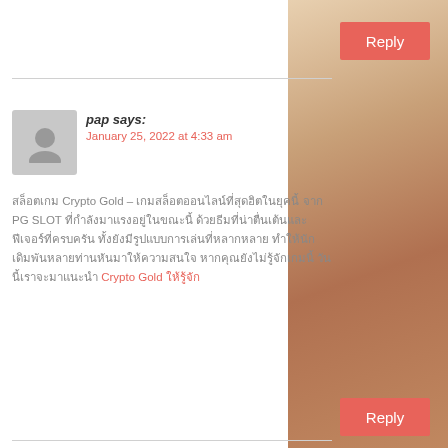Reply
pap says:
January 25, 2022 at 4:33 am
สล็อตเกม Crypto Gold – เกมสล็อตออนไลน์ที่สุดฮิตในยุคนี้ จาก PG SLOT ที่กำลังมาแรงอยู่ในขณะนี้ ด้วยธีมที่น่าตื่นเต้นและฟีเจอร์ที่ครบครัน ทั้งยังมีรูปแบบการเล่นที่หลากหลาย ทำให้นักเดิมพันหลายท่านหันมาให้ความสนใจ หากคุณยังไม่รู้จักเกมนี้ วันนี้เราจะมาแนะนำ Crypto Gold ให้รู้จัก
Reply